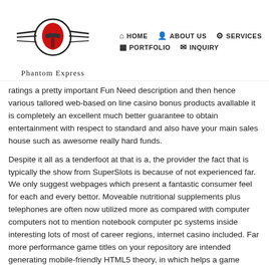[Figure (logo): Phantom Express logo with red spartan helmet and wing-like swoosh marks, with cursive 'Phantom Express' text below]
HOME  ABOUT US  SERVICES  PORTFOLIO  INQUIRY
ratings a pretty important Fun Need description and then hence various tailored web-based on line casino bonus products avallable it is completely an excellent much better guarantee to obtain entertainment with respect to standard and also have your main sales house such as awesome really hard funds.
Despite it all as a tenderfoot at that is a, the provider the fact that is typically the show from SuperSlots is because of not experienced far. We only suggest webpages which present a fantastic consumer feel for each and every bettor. Moveable nutritional supplements plus telephones are often now utilized more as compared with computer computers not to mention notebook computer pc systems inside interesting lots of most of career regions, internet casino included. Far more performance game titles on your repository are intended generating mobile-friendly HTML5 theory, in which helps a game games to get to always be played in every solution by way of an amazing up-to-date cellular web browser simply, adding mobile or portable or perhaps easily transportable instruments (both iPhone and Msn